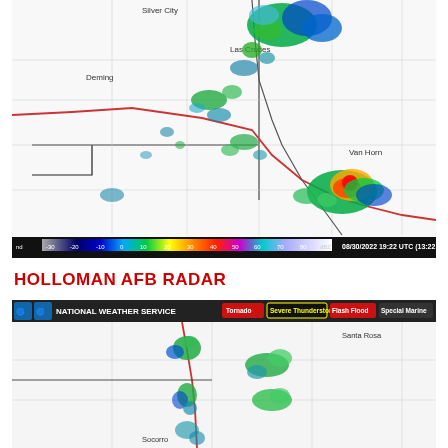[Figure (map): NWS radar image showing precipitation over southern New Mexico and west Texas region including Las Cruces, Silver City, Deming, and Van Horn. Radar timestamp: 08/30/2022 19:22 UTC (13:22 MDT) KEPZ. Color scale bar at bottom showing reflectivity from nd to 80 dBZ.]
HOLLOMAN AFB RADAR
[Figure (map): National Weather Service radar image showing precipitation near Socorro, Santa Rosa area in New Mexico. Header bar shows NWS logo with warning buttons: Tornado, Severe Thunderstorm (highlighted in yellow), Flash Flood, Special Marine.]